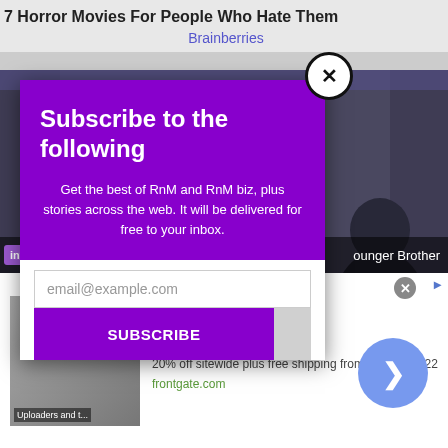7 Horror Movies For People Who Hate Them
Brainberries
[Figure (screenshot): Dark background showing people on a stage set, with yellow sunflowers on the right side]
Subscribe to the following
Get the best of RnM and RnM biz, plus stories across the web. It will be delivered for free to your inbox.
email@example.com
SUBSCRIBE
infolinks
n Be...
ounger Brother
Frontgate SALES
20% off sitewide plus free shipping from August 19-22
frontgate.com
Uploaders and t...